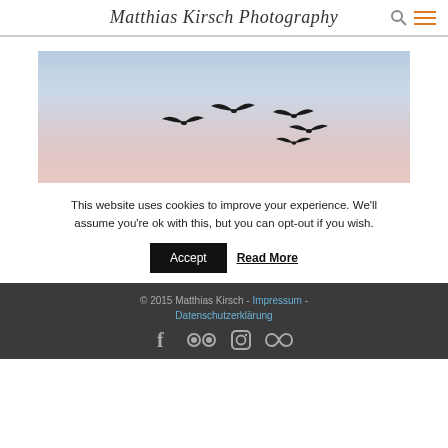Matthias Kirsch Photography
[Figure (photo): Photography of birds flying in a gradient sky from blue to pinkish-white at dusk or dawn]
This website uses cookies to improve your experience. We'll assume you're ok with this, but you can opt-out if you wish.
Accept   Read More
© 2015 Matthias Kirsch - Impressum - Datenschutzerklärung